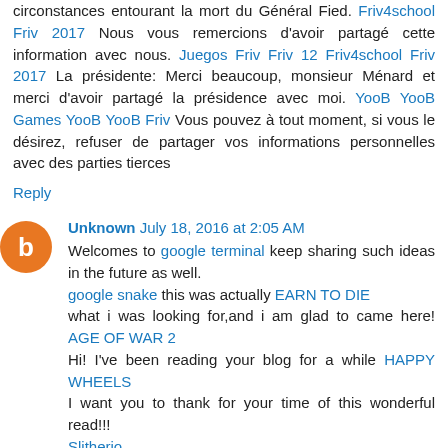circonstances entourant la mort du Général Fied. Friv4school Friv 2017 Nous vous remercions d'avoir partagé cette information avec nous. Juegos Friv Friv 12 Friv4school Friv 2017 La présidente: Merci beaucoup, monsieur Ménard et merci d'avoir partagé la présidence avec moi. YooB YooB Games YooB YooB Friv Vous pouvez à tout moment, si vous le désirez, refuser de partager vos informations personnelles avec des parties tierces
Reply
Unknown July 18, 2016 at 2:05 AM
Welcomes to google terminal keep sharing such ideas in the future as well. google snake this was actually EARN TO DIE what i was looking for,and i am glad to came here! AGE OF WAR 2 Hi! I've been reading your blog for a while HAPPY WHEELS I want you to thank for your time of this wonderful read!!! Slitherio Amazing insight you have on this, Slither io This article